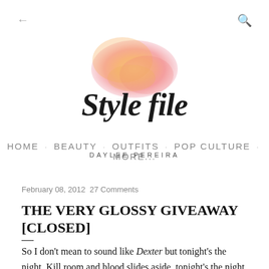[Figure (logo): Style file blog logo with watercolor orange-pink blob background and cursive text 'Style file' with subtitle 'DAYLEE PEREIRA']
HOME · BEAUTY · OUTFITS · POP CULTURE · MORE...
February 08, 2012 27 Comments
THE VERY GLOSSY GIVEAWAY [CLOSED]
So I don't mean to sound like Dexter but tonight's the night. Kill room and blood slides aside, tonight's the night I announce the big giveaway contest I've been